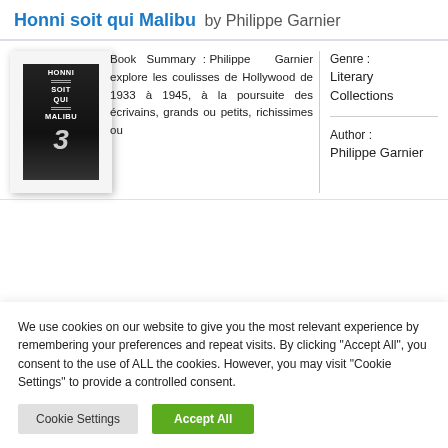Honni soit qui Malibu by Philippe Garnier
[Figure (illustration): Book cover for 'Honni soit qui Malibu' — dark background with stylized text and a large italic number 3]
Book Summary : Philippe Garnier explore les coulisses de Hollywood de 1933 à 1945, à la poursuite des écrivains, grands ou petits, richissimes ou
Genre : Literary Collections
Author : Philippe Garnier
We use cookies on our website to give you the most relevant experience by remembering your preferences and repeat visits. By clicking "Accept All", you consent to the use of ALL the cookies. However, you may visit "Cookie Settings" to provide a controlled consent.